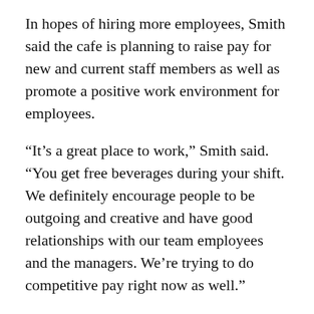In hopes of hiring more employees, Smith said the cafe is planning to raise pay for new and current staff members as well as promote a positive work environment for employees.
“It’s a great place to work,” Smith said. “You get free beverages during your shift. We definitely encourage people to be outgoing and creative and have good relationships with our team employees and the managers. We’re trying to do competitive pay right now as well.”
Eve Aronoff, manager of Frita Batidos, said the Cuban-inspired downtown Ann Arbor